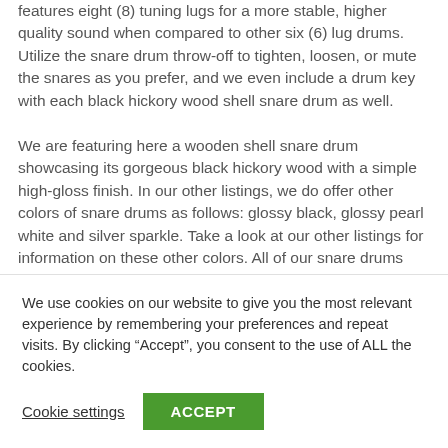features eight (8) tuning lugs for a more stable, higher quality sound when compared to other six (6) lug drums. Utilize the snare drum throw-off to tighten, loosen, or mute the snares as you prefer, and we even include a drum key with each black hickory wood shell snare drum as well.

We are featuring here a wooden shell snare drum showcasing its gorgeous black hickory wood with a simple high-gloss finish. In our other listings, we do offer other colors of snare drums as follows: glossy black, glossy pearl white and silver sparkle. Take a look at our other listings for information on these other colors. All of our snare drums
We use cookies on our website to give you the most relevant experience by remembering your preferences and repeat visits. By clicking “Accept”, you consent to the use of ALL the cookies.
Cookie settings
ACCEPT